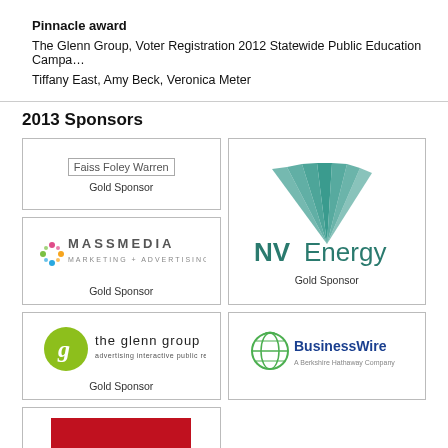Pinnacle award
The Glenn Group, Voter Registration 2012 Statewide Public Education Campaign
Tiffany East, Amy Beck, Veronica Meter
2013 Sponsors
[Figure (logo): Faiss Foley Warren logo with text 'Gold Sponsor' below]
[Figure (logo): NV Energy logo with teal fan graphic and bold NVEnergy text, 'Gold Sponsor' below]
[Figure (logo): Mass Media Marketing + Advertising + PR logo, 'Gold Sponsor' below]
[Figure (logo): The Glenn Group logo with green circle 'g', 'Gold Sponsor' below]
[Figure (logo): Business Wire - A Berkshire Hathaway Company logo]
[Figure (logo): RR red letters logo (partially visible)]